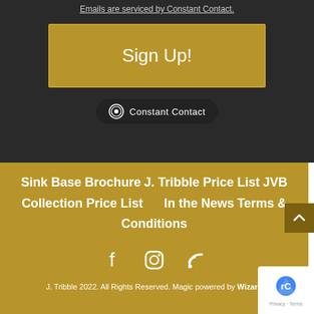Emails are serviced by Constant Contact.
Sign Up!
[Figure (logo): Constant Contact badge/logo with circular icon and text]
Sink Base Brochure
J. Tribble Price List
JVB Collection Price List     In the News
Terms & Conditions
[Figure (infographic): Social media icons: Facebook, Instagram, RSS feed]
J. Tribble 2022. All Rights Reserved. Magic powered by Wizard